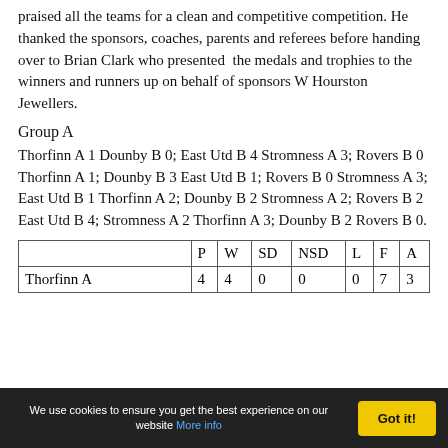SFBS Chairman congratulated both the finalists and praised all the teams for a clean and competitive competition. He thanked the sponsors, coaches, parents and referees before handing over to Brian Clark who presented the medals and trophies to the winners and runners up on behalf of sponsors W Hourston Jewellers.
Group A
Thorfinn A 1 Dounby B 0; East Utd B 4 Stromness A 3; Rovers B 0 Thorfinn A 1; Dounby B 3 East Utd B 1; Rovers B 0 Stromness A 3; East Utd B 1 Thorfinn A 2; Dounby B 2 Stromness A 2; Rovers B 2 East Utd B 4; Stromness A 2 Thorfinn A 3; Dounby B 2 Rovers B 0.
|  | P | W | SD | NSD | L | F | A |
| --- | --- | --- | --- | --- | --- | --- | --- |
| Thorfinn A | 4 | 4 | 0 | 0 | 0 | 7 | 3 |
We use cookies to ensure you get the best experience on our website More info